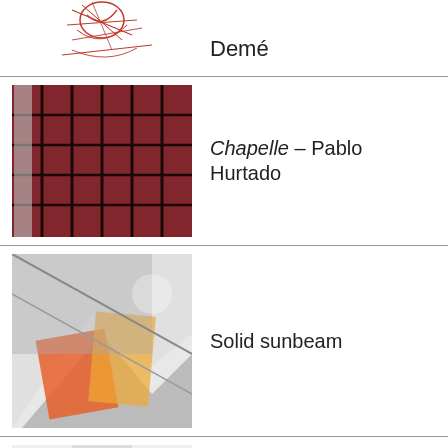Demé
Chapelle – Pablo Hurtado
Solid sunbeam
CRCRCRCRCR – Aloïs Godinat, Nicolas Wagnières
At Your Side (Part 2) – Léo Wadimoff, Simon Haenni
(partial, cut off)